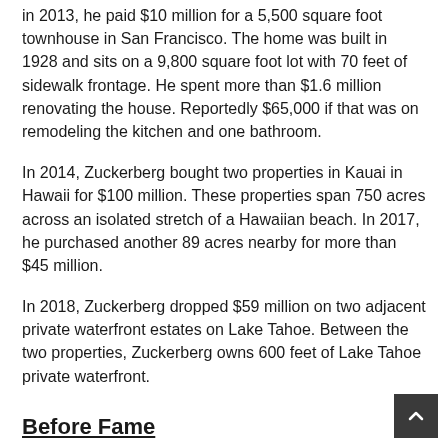in 2013, he paid $10 million for a 5,500 square foot townhouse in San Francisco. The home was built in 1928 and sits on a 9,800 square foot lot with 70 feet of sidewalk frontage. He spent more than $1.6 million renovating the house. Reportedly $65,000 if that was on remodeling the kitchen and one bathroom.
In 2014, Zuckerberg bought two properties in Kauai in Hawaii for $100 million. These properties span 750 acres across an isolated stretch of a Hawaiian beach. In 2017, he purchased another 89 acres nearby for more than $45 million.
In 2018, Zuckerberg dropped $59 million on two adjacent private waterfront estates on Lake Tahoe. Between the two properties, Zuckerberg owns 600 feet of Lake Tahoe private waterfront.
Before Fame
He was a member of his high school fencing team and attended Harvard University.
⊙ Biography Timeline
1984